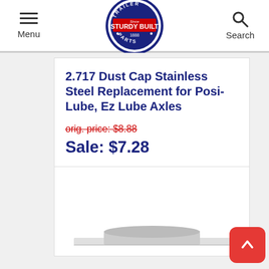Menu | Sturdy Built Trailer Parts | Search
2.717 Dust Cap Stainless Steel Replacement for Posi-Lube, Ez Lube Axles
orig. price: $8.88
Sale: $7.28
[Figure (photo): Product image of a dust cap stainless steel part, partially visible at the bottom of the page]